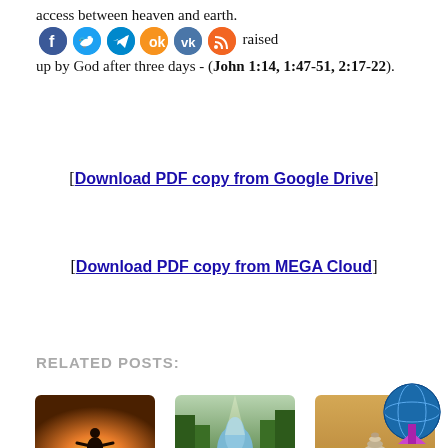access between heaven and earth. [social icons] raised up by God after three days - (John 1:14, 1:47-51, 2:17-22).
[Download PDF copy from Google Drive]
[Download PDF copy from MEGA Cloud]
RELATED POSTS:
[Figure (photo): Silhouette of a person with arms outstretched against a sunset sky]
To Samaria
[Figure (photo): A rocky stream flowing through a lush green forest with light rays]
THIS Is My Son!
[Figure (photo): Stacked stones on sandy ground, desert setting]
First Martyr